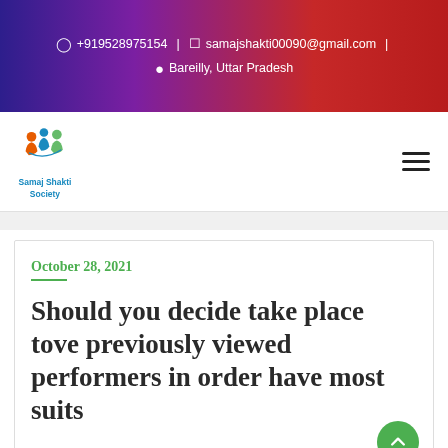📱 +919528975154 | 💬 samajshakti00090@gmail.com | 📍 Bareilly, Uttar Pradesh
[Figure (logo): Samaj Shakti Society logo — colorful people figures forming a circle, with text 'Samaj Shakti Society' below]
October 28, 2021
Should you decide take place tove previously viewed performers in order have most suits